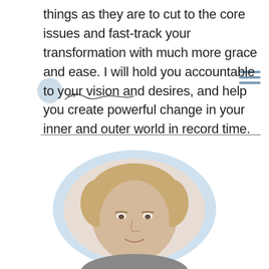things as they are to cut to the core issues and fast-track your transformation with much more grace and ease. I will hold you accountable to your vision and desires, and help you create powerful change in your inner and outer world in record time.
[Figure (photo): Circular portrait photo of a blonde woman with short hair, framed by a blue watercolor circle border, shown from shoulders up against a light background.]